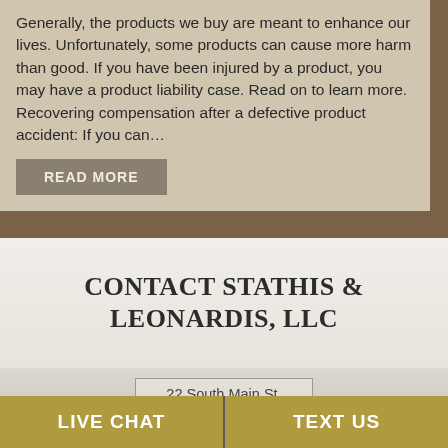Generally, the products we buy are meant to enhance our lives. Unfortunately, some products can cause more harm than good. If you have been injured by a product, you may have a product liability case. Read on to learn more. Recovering compensation after a defective product accident: If you can…
READ MORE
CONTACT STATHIS & LEONARDIS, LLC
22 South Main St.
LIVE CHAT
TEXT US